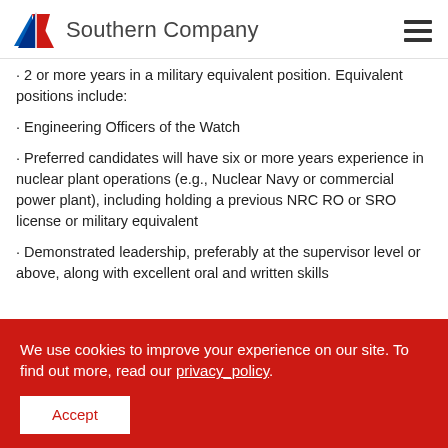[Figure (logo): Southern Company logo with red/blue triangle and company name text]
· 2 or more years in a military equivalent position. Equivalent positions include:
· Engineering Officers of the Watch
· Preferred candidates will have six or more years experience in nuclear plant operations (e.g., Nuclear Navy or commercial power plant), including holding a previous NRC RO or SRO license or military equivalent
· Demonstrated leadership, preferably at the supervisor level or above, along with excellent oral and written skills
We use cookies to improve your experience on our site. To find out more, read our privacy_policy.